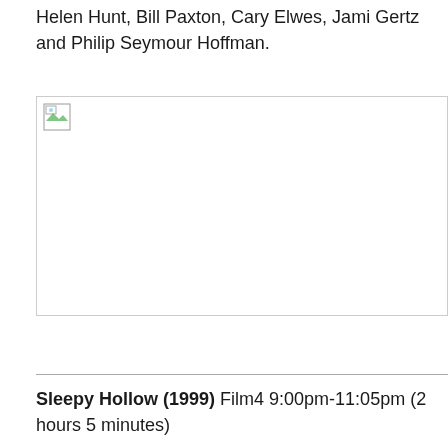Helen Hunt, Bill Paxton, Cary Elwes, Jami Gertz and Philip Seymour Hoffman.
[Figure (photo): Broken/missing image placeholder shown as a small icon with a border box]
Sleepy Hollow (1999) Film4 9:00pm-11:05pm (2 hours 5 minutes)